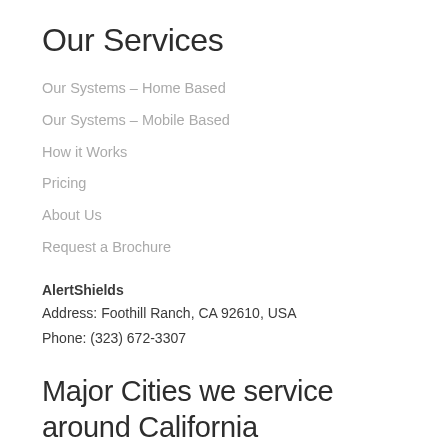Our Services
Our Systems – Home Based
Our Systems – Mobile Based
How it Works
Pricing
About Us
Request a Brochure
AlertShields
Address: Foothill Ranch, CA 92610, USA
Phone: (323) 672-3307
Major Cities we service around California
Los Angeles